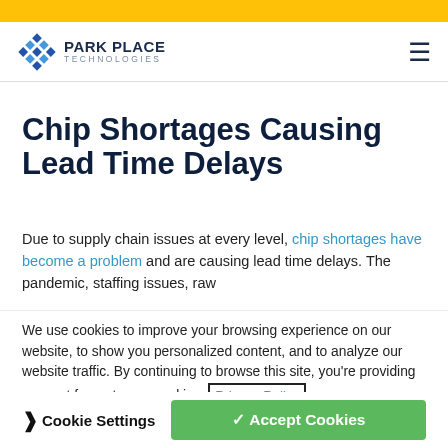Park Place Technologies — navigation header with logo and hamburger menu
Chip Shortages Causing Lead Time Delays
Due to supply chain issues at every level, chip shortages have become a problem and are causing lead time delays. The pandemic, staffing issues, raw
We use cookies to improve your browsing experience on our website, to show you personalized content, and to analyze our website traffic. By continuing to browse this site, you're providing consent for us to use cookies. Privacy Policy
Cookie Settings | ✓ Accept Cookies